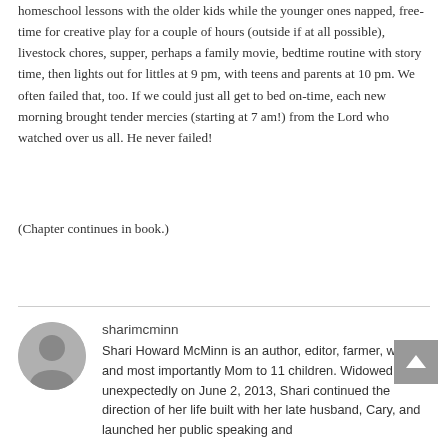homeschool lessons with the older kids while the younger ones napped, free-time for creative play for a couple of hours (outside if at all possible), livestock chores, supper, perhaps a family movie, bedtime routine with story time, then lights out for littles at 9 pm, with teens and parents at 10 pm. We often failed that, too. If we could just all get to bed on-time, each new morning brought tender mercies (starting at 7 am!) from the Lord who watched over us all. He never failed!
(Chapter continues in book.)
sharimcminn
Shari Howard McMinn is an author, editor, farmer, writer, and most importantly Mom to 11 children. Widowed very unexpectedly on June 2, 2013, Shari continued the direction of her life built with her late husband, Cary, and launched her public speaking and